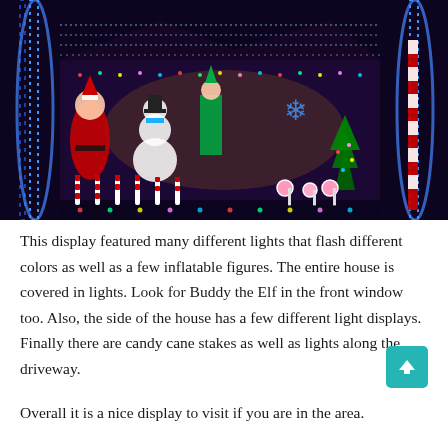[Figure (photo): A house decorated with extensive Christmas light display at night. Features many colorful flashing lights covering the entire house, inflatable figures including Santa Claus and a snowman, Buddy the Elf figure in the front window, candy cane stakes along the driveway, blue light archways on either side, and various other holiday decorations including a Christmas tree, snowflake lights, and pink lollipop yard stakes.]
This display featured many different lights that flash different colors as well as a few inflatable figures. The entire house is covered in lights. Look for Buddy the Elf in the front window too. Also, the side of the house has a few different light displays. Finally there are candy cane stakes as well as lights along the driveway.
Overall it is a nice display to visit if you are in the area.